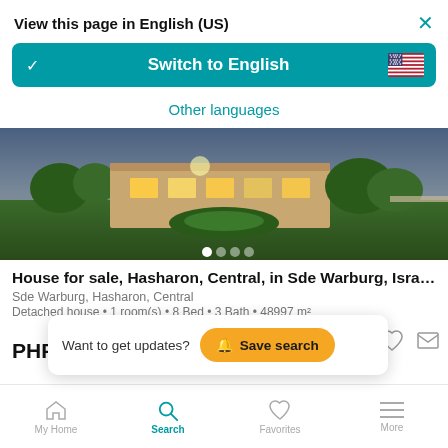View this page in English (US)
[Figure (screenshot): Switch to English button with teal background and US flag icon]
Other languages
[Figure (photo): Exterior photo of a house/building at dusk with green lawn]
House for sale, Hasharon, Central, in Sde Warburg, Isra…
Sde Warburg, Hasharon, Central
Detached house • 1 room(s) • 8 Bed • 3 Bath • 48997 m²
PHP 55€
Want to get updates?
Save search
My Home  Search  Favorites  More